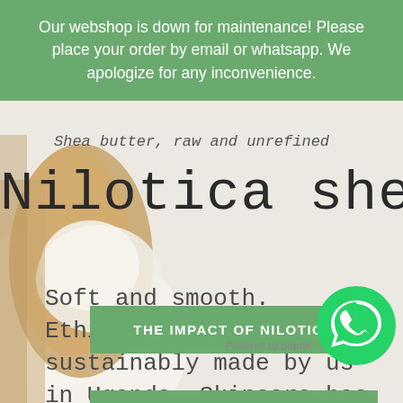Our webshop is down for maintenance! Please place your order by email or whatsapp. We apologize for any inconvenience.
Shea butter, raw and unrefined
Nilotica shea butt
Soft and smooth. Ethically and sustainably made by us in Uganda. Skincare has never been this good!
THE IMPACT OF NILOTICA
[Figure (logo): WhatsApp phone icon in green circle]
Powered by poptin